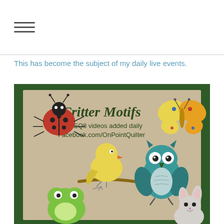This has become the subject of my daily live events.
[Figure (illustration): Critter Motifs promotional image with cartoon animals (ladybug, butterfly, chick on branch, owl, frog, bunny) on a tan background with dark green border. Text reads: 'Critter Motifs free EQ8 videos added daily Facebook.com/OnPointQuilter']